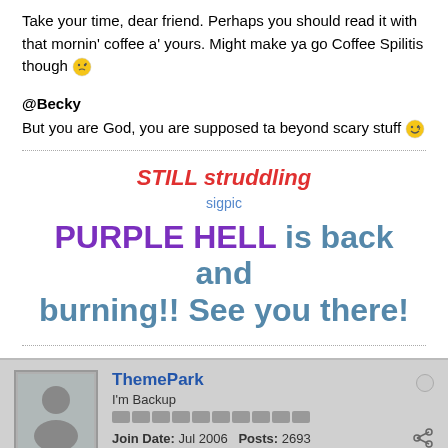Take your time, dear friend. Perhaps you should read it with that mornin' coffee a' yours. Might make ya go Coffee Spilitis though 😏
@Becky
But you are God, you are supposed ta beyond scary stuff 😝
STILL struddling
sigpic
PURPLE HELL is back and burning!! See you there!
ThemePark
I'm Backup
Join Date: Jul 2006   Posts: 2693